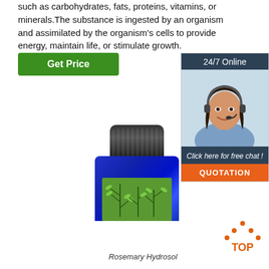such as carbohydrates, fats, proteins, vitamins, or minerals.The substance is ingested by an organism and assimilated by the organism's cells to provide energy, maintain life, or stimulate growth.
[Figure (other): Green 'Get Price' button]
[Figure (other): 24/7 Online chat widget with customer service representative photo, 'Click here for free chat!' text, and orange QUOTATION button]
[Figure (photo): Blue bottle of Rosemary Hydrosol with black cap and green herb label showing rosemary plant]
Rosemary Hydrosol
[Figure (other): Orange and dark 'TOP' badge with triangle dots above]